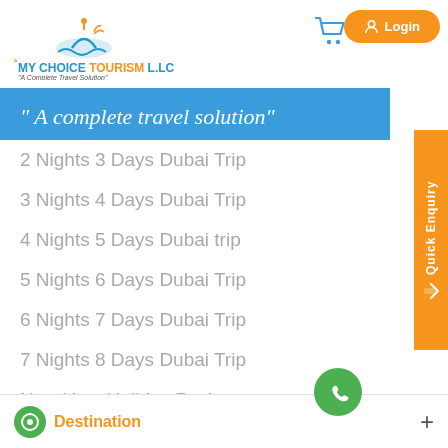[Figure (logo): My Choice Tourism LLC logo with Arabic text above, blue and orange colors, tagline 'A Complete Travel Solution']
[Figure (illustration): Shopping cart icon in blue outline]
Login
" A complete travel solution"
Quick Enquiry
2 Nights 3 Days Dubai Trip
3 Nights 4 Days Dubai Trip
4 Nights 5 Days Dubai trip
5 Nights 6 Days Dubai Trip
6 Nights 7 Days Dubai Trip
7 Nights 8 Days Dubai Trip
New Year Holiday Package
Destination
[Figure (illustration): WhatsApp green circle icon]
+